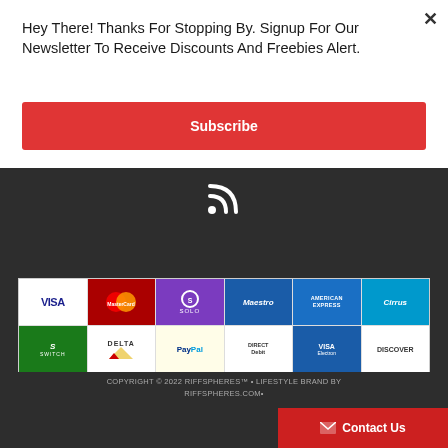Hey There! Thanks For Stopping By. Signup For Our Newsletter To Receive Discounts And Freebies Alert.
Subscribe
[Figure (illustration): RSS feed icon in white on dark background]
[Figure (illustration): Payment method logos: Visa, MasterCard, Solo, Maestro, American Express, Cirrus, Switch, Delta, PayPal, Direct Debit, Visa Electron, Discover]
COPYRIGHT © 2022 RIFFSPHERES™ • LIFESTYLE BRAND BY RIFFSPHERES.COM•
Contact Us